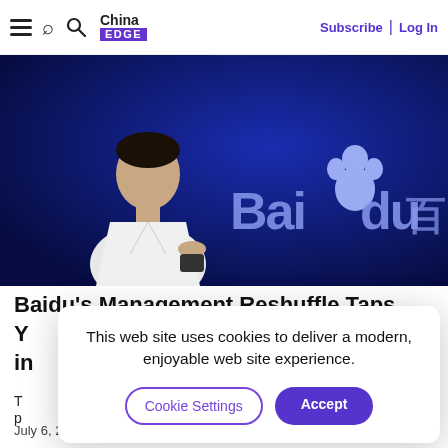China EDGE | Subscribe | Log In
[Figure (photo): Man in white shirt standing in front of large Baidu logo on a dark blue background, holding a device.]
Baidu's Management Reshuffle Taps Y… in…
T… p…
This web site uses cookies to deliver a modern, enjoyable web site experience.
Cookie Settings  Accept
July 6, 2021   Source: caixinglobal